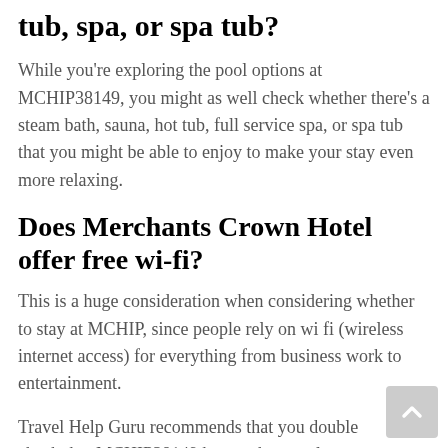tub, spa, or spa tub?
While you're exploring the pool options at MCHIP38149, you might as well check whether there's a steam bath, sauna, hot tub, full service spa, or spa tub that you might be able to enjoy to make your stay even more relaxing.
Does Merchants Crown Hotel offer free wi-fi?
This is a huge consideration when considering whether to stay at MCHIP, since people rely on wi fi (wireless internet access) for everything from business work to entertainment.
Travel Help Guru recommends that you double check that MCHIP38149 has, at the very least, free wifi in lobby areas, as well as more private options for fast, solid, reliable internet access.